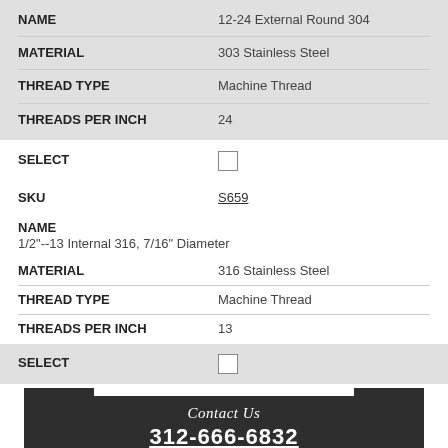| Property | Value |
| --- | --- |
| NAME | 12-24 External Round 304 |
| MATERIAL | 303 Stainless Steel |
| THREAD TYPE | Machine Thread |
| THREADS PER INCH | 24 |
| Property | Value |
| --- | --- |
| SELECT | ☐ |
SKU: S659
NAME
1/2"--13 Internal 316, 7/16" Diameter
| Property | Value |
| --- | --- |
| MATERIAL | 316 Stainless Steel |
| THREAD TYPE | Machine Thread |
| THREADS PER INCH | 13 |
| Property | Value |
| --- | --- |
| SELECT | ☐ |
[Figure (infographic): Dark banner with ribbon decorations showing 'Contact Us' in italic script and phone number '312-666-6832' underlined below]